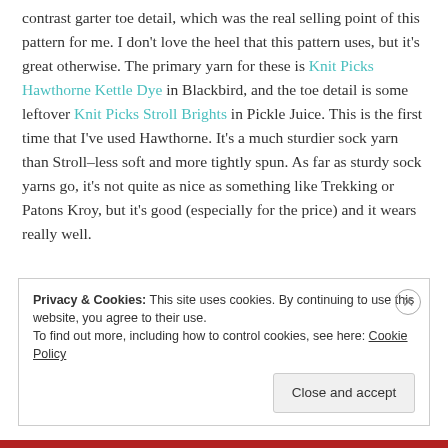contrast garter toe detail, which was the real selling point of this pattern for me. I don't love the heel that this pattern uses, but it's great otherwise. The primary yarn for these is Knit Picks Hawthorne Kettle Dye in Blackbird, and the toe detail is some leftover Knit Picks Stroll Brights in Pickle Juice. This is the first time that I've used Hawthorne. It's a much sturdier sock yarn than Stroll–less soft and more tightly spun. As far as sturdy sock yarns go, it's not quite as nice as something like Trekking or Patons Kroy, but it's good (especially for the price) and it wears really well.
Privacy & Cookies: This site uses cookies. By continuing to use this website, you agree to their use.
To find out more, including how to control cookies, see here: Cookie Policy